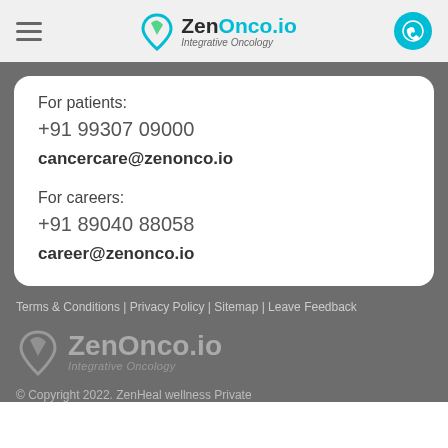ZenOnco.io Integrative Oncology
For patients:
+91 99307 09000
cancercare@zenonco.io
For careers:
+91 89040 88058
career@zenonco.io
Terms & Conditions | Privacy Policy | Sitemap | Leave Feedback
ZenOnco.io Integrative Oncology
© Copyright 2022. ZenHeal wellness Private